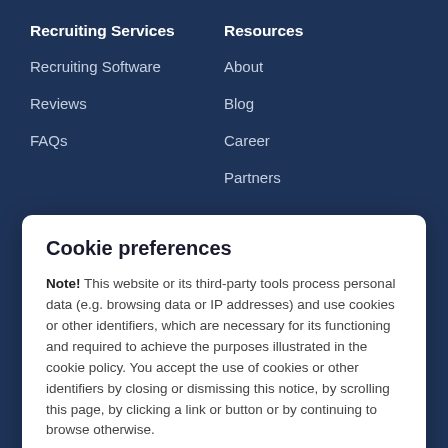Recruiting Services
Recruiting Software
Reviews
FAQs
Resources
About
Blog
Career
Partners
Cookie preferences
Note! This website or its third-party tools process personal data (e.g. browsing data or IP addresses) and use cookies or other identifiers, which are necessary for its functioning and required to achieve the purposes illustrated in the cookie policy. You accept the use of cookies or other identifiers by closing or dismissing this notice, by scrolling this page, by clicking a link or button or by continuing to browse otherwise.
Got it!